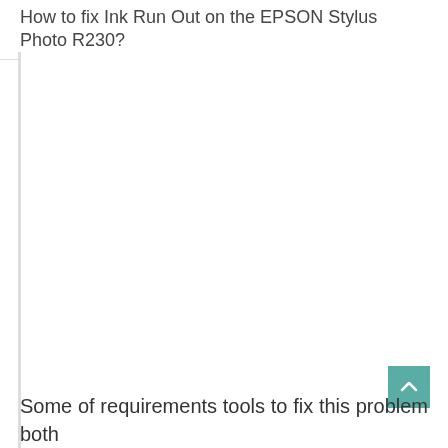How to fix Ink Run Out on the EPSON Stylus Photo R230?
Some of requirements tools to fix this problem both